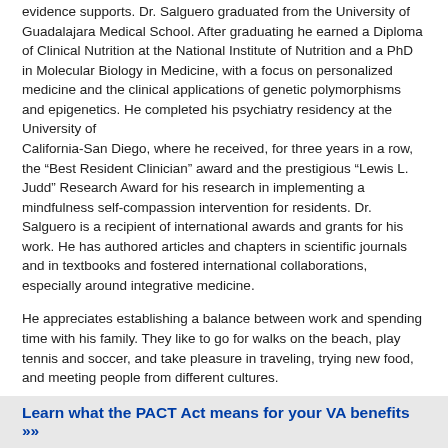evidence supports. Dr. Salguero graduated from the University of Guadalajara Medical School. After graduating he earned a Diploma of Clinical Nutrition at the National Institute of Nutrition and a PhD in Molecular Biology in Medicine, with a focus on personalized medicine and the clinical applications of genetic polymorphisms and epigenetics. He completed his psychiatry residency at the University of California-San Diego, where he received, for three years in a row, the “Best Resident Clinician” award and the prestigious “Lewis L. Judd” Research Award for his research in implementing a mindfulness self-compassion intervention for residents. Dr. Salguero is a recipient of international awards and grants for his work. He has authored articles and chapters in scientific journals and in textbooks and fostered international collaborations, especially around integrative medicine.
He appreciates establishing a balance between work and spending time with his family. They like to go for walks on the beach, play tennis and soccer, and take pleasure in traveling, trying new food, and meeting people from different cultures.
Learn what the PACT Act means for your VA benefits »